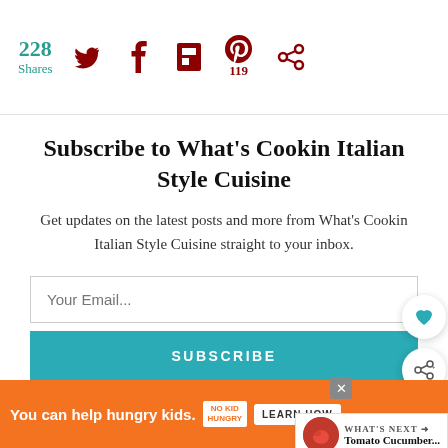228 Shares · Twitter · Facebook · Flipboard · Pinterest 119 · Other
Subscribe to What's Cookin Italian Style Cuisine
Get updates on the latest posts and more from What's Cookin Italian Style Cuisine straight to your inbox.
Your Email...
SUBSCRIBE
I consent to receiving emails and personalized ads.
[Figure (infographic): Heart like floating button and share floating button on right side]
[Figure (infographic): WHAT'S NEXT arrow with Tomato Cucumber... thumbnail]
You can help hungry kids. NO KID HUNGRY LEARN HOW